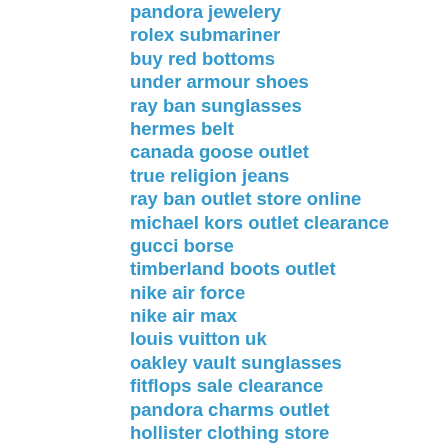pandora jewelery
rolex submariner
buy red bottoms
under armour shoes
ray ban sunglasses
hermes belt
canada goose outlet
true religion jeans
ray ban outlet store online
michael kors outlet clearance
gucci borse
timberland boots outlet
nike air force
nike air max
louis vuitton uk
oakley vault sunglasses
fitflops sale clearance
pandora charms outlet
hollister clothing store
canada goose uk
cheap oakley sunglasses
yeezy boost 350
adidas nmd